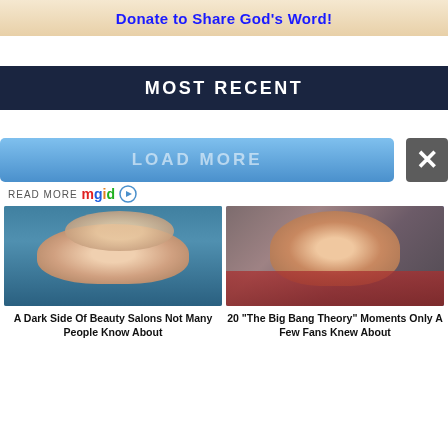[Figure (illustration): Banner with tan/beige background and blue bold text 'Donate to Share God's Word!']
MOST RECENT
[Figure (screenshot): Blue 'LOAD MORE' button with a dark close/X button on the right]
READ MORE mgid
[Figure (photo): Photo of a person getting hair washed at a beauty salon]
A Dark Side Of Beauty Salons Not Many People Know About
[Figure (photo): Photo of a woman wearing glasses and a red cardigan, from The Big Bang Theory]
20 "The Big Bang Theory" Moments Only A Few Fans Knew About